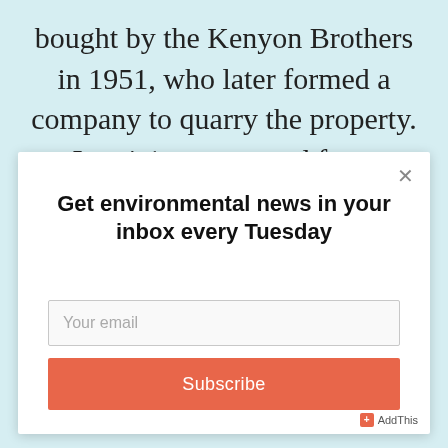bought by the Kenyon Brothers in 1951, who later formed a company to quarry the property. Lot 4-1 was created from
[Figure (screenshot): Modal popup dialog with a newsletter subscription form. Contains a close button (×), headline 'Get environmental news in your inbox every Tuesday', an email input field with placeholder 'Your email', and a salmon/orange 'Subscribe' button. An AddThis badge appears in the bottom right corner.]